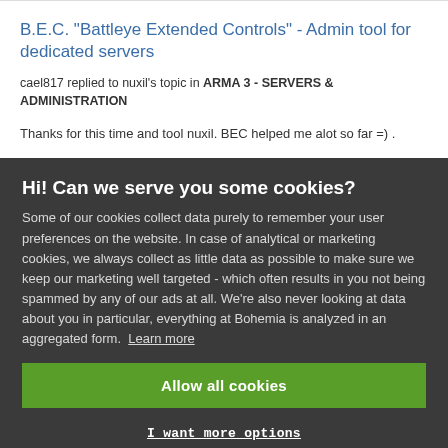B.E.C. "Battleye Extended Controls" - Admin tool for dedicated servers
cael817 replied to nuxil's topic in ARMA 3 - SERVERS & ADMINISTRATION
Thanks for this time and tool nuxil. BEC helped me alot so far =) .
Hi! Can we serve you some cookies?
Some of our cookies collect data purely to remember your user preferences on the website. In case of analytical or marketing cookies, we always collect as little data as possible to make sure we keep our marketing well targeted - which often results in you not being spammed by any of our ads at all. We're also never looking at data about you in particular, everything at Bohemia is analyzed in an aggregated form. Learn more
Allow all cookies
I want more options